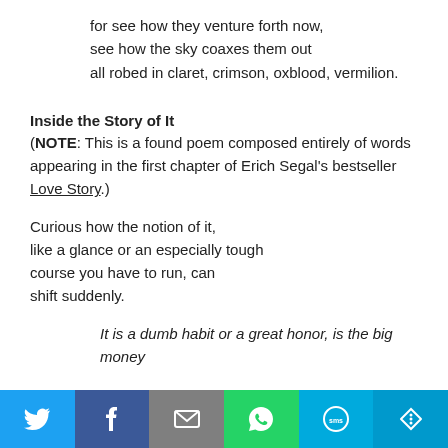for see how they venture forth now,
see how the sky coaxes them out
all robed in claret, crimson, oxblood, vermilion.
Inside the Story of It
(NOTE: This is a found poem composed entirely of words appearing in the first chapter of Erich Segal's bestseller Love Story.)
Curious how the notion of it,
like a glance or an especially tough
course you have to run, can
shift suddenly.
It is a dumb habit or a great honor, is the big money
Twitter | Facebook | Email | WhatsApp | SMS | More